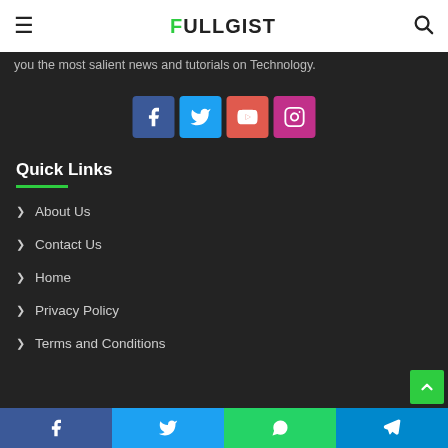FULLGIST
you the most salient news and tutorials on Technology.
[Figure (infographic): Row of four social media icon buttons: Facebook (blue), Twitter (light blue), YouTube (red), Instagram (pink/magenta)]
Quick Links
About Us
Contact Us
Home
Privacy Policy
Terms and Conditions
Facebook | Twitter | WhatsApp | Telegram